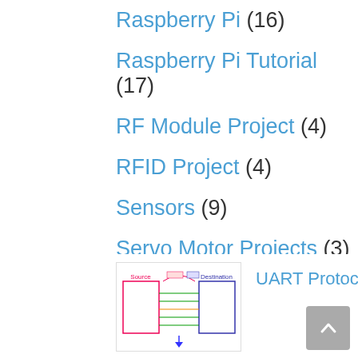Raspberry Pi (16)
Raspberry Pi Tutorial (17)
RF Module Project (4)
RFID Project (4)
Sensors (9)
Servo Motor Projects (3)
Transistor Project (1)
Uncategorized (9)
[Figure (schematic): UART Protocol thumbnail image showing source and destination blocks with signal lines]
UART Protocol